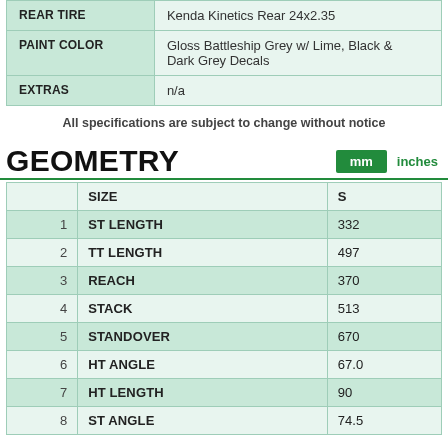|  |  |
| --- | --- |
| REAR TIRE | Kenda Kinetics Rear 24x2.35 |
| PAINT COLOR | Gloss Battleship Grey w/ Lime, Black & Dark Grey Decals |
| EXTRAS | n/a |
All specifications are subject to change without notice
GEOMETRY
|  | SIZE | S |
| --- | --- | --- |
| 1 | ST LENGTH | 332 |
| 2 | TT LENGTH | 497 |
| 3 | REACH | 370 |
| 4 | STACK | 513 |
| 5 | STANDOVER | 670 |
| 6 | HT ANGLE | 67.0 |
| 7 | HT LENGTH | 90 |
| 8 | ST ANGLE | 74.5 |